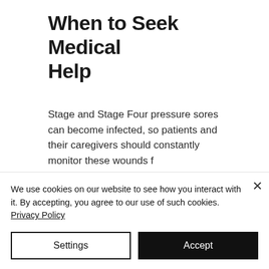When to Seek Medical Help
Stage and Stage Four pressure sores can become infected, so patients and their caregivers should constantly monitor these wounds f
[Figure (photo): Photo showing three people (two with darker skin tones, one with light skin and blonde/highlighted hair), visible from the top of their heads, looking downward. Light blue background with blinds visible.]
We use cookies on our website to see how you interact with it. By accepting, you agree to our use of such cookies. Privacy Policy